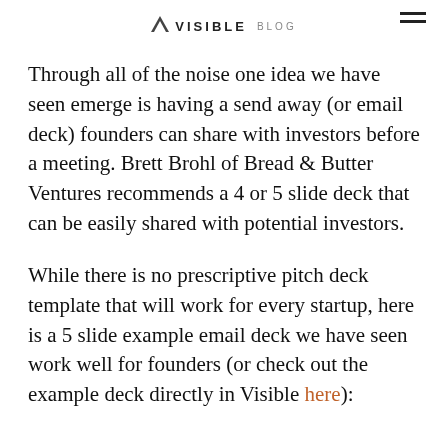VISIBLE BLOG
Through all of the noise one idea we have seen emerge is having a send away (or email deck) founders can share with investors before a meeting. Brett Brohl of Bread & Butter Ventures recommends a 4 or 5 slide deck that can be easily shared with potential investors.
While there is no prescriptive pitch deck template that will work for every startup, here is a 5 slide example email deck we have seen work well for founders (or check out the example deck directly in Visible here):